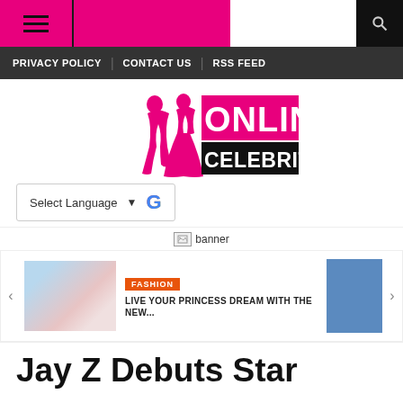[Figure (screenshot): Website header with hamburger menu icon on pink/magenta background, and search icon on dark background]
PRIVACY POLICY | CONTACT US | RSS FEED
[Figure (logo): Online Celebrity logo with pink silhouettes of two women and ONLINE in pink block letters, CELEBRITY in white on black block]
[Figure (screenshot): Google Translate language selector widget showing 'Select Language' with dropdown arrow and Google G logo]
[Figure (other): Broken banner image placeholder with alt text 'banner']
[Figure (screenshot): Carousel article card: FASHION tag, headline 'LIVE YOUR PRINCESS DREAM WITH THE NEW...' with bride photo on left and celebrity photo on right]
Jay Z Debuts Star